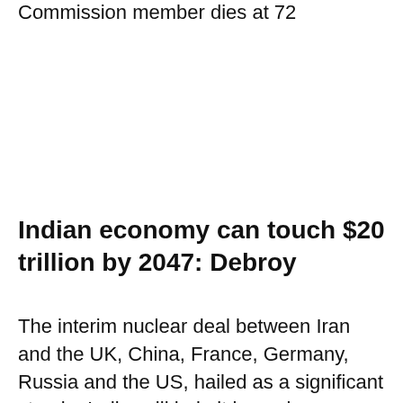Commission member dies at 72
Indian economy can touch $20 trillion by 2047: Debroy
The interim nuclear deal between Iran and the UK, China, France, Germany, Russia and the US, hailed as a significant step by India, will help it in again increasing oil imports from Tehran while at the same